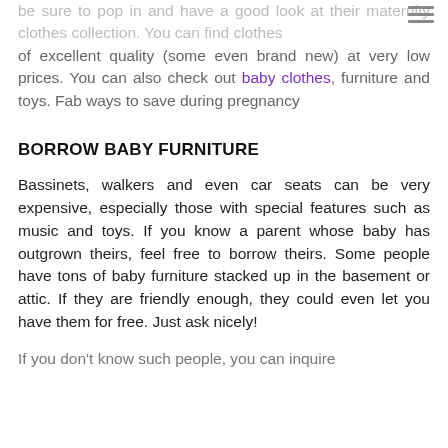be sure to pop in and have a good look at their maternity clothes collection. You can find clothes of excellent quality (some even brand new) at very low prices. You can also check out baby clothes, furniture and toys. Fab ways to save during pregnancy
BORROW BABY FURNITURE
Bassinets, walkers and even car seats can be very expensive, especially those with special features such as music and toys. If you know a parent whose baby has outgrown theirs, feel free to borrow theirs. Some people have tons of baby furniture stacked up in the basement or attic. If they are friendly enough, they could even let you have them for free. Just ask nicely!
If you don't know such people, you can inquire